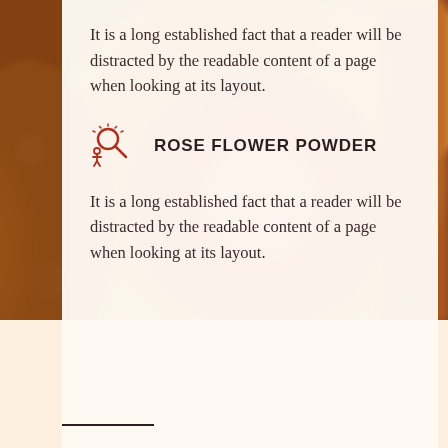[Figure (photo): Close-up photograph of a sliced citrus fruit (grapefruit or orange), showing the pink/red flesh and orange rind, used as a background for the top portion of the page.]
It is a long established fact that a reader will be distracted by the readable content of a page when looking at its layout.
ROSE FLOWER POWDER
It is a long established fact that a reader will be distracted by the readable content of a page when looking at its layout.